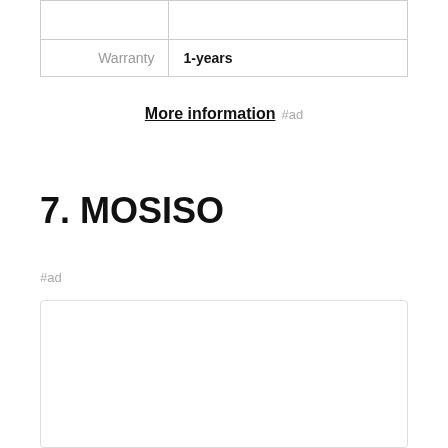|  |  |
| Warranty | 1-years |
More information #ad
7. MOSISO
#ad
As an Amazon Associate I earn from qualifying purchases. This website uses the only necessary cookies to ensure you get the best experience on our website. More information
[Figure (photo): Product image at the bottom of the page, partially visible]